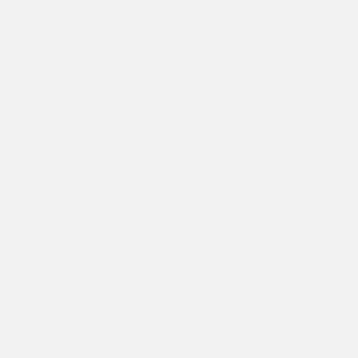it... for... the... firs... tim... du... Sp... Pla...
Th... tie... in ... wi... so... the... ve... dif... ch... of ... eff... Pr... Ov... Of... the... ve... pe... mo...